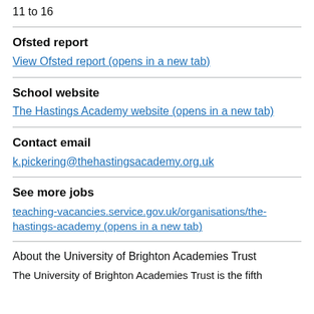11 to 16
Ofsted report
View Ofsted report (opens in a new tab)
School website
The Hastings Academy website (opens in a new tab)
Contact email
k.pickering@thehastingsacademy.org.uk
See more jobs
teaching-vacancies.service.gov.uk/organisations/the-hastings-academy (opens in a new tab)
About the University of Brighton Academies Trust
The University of Brighton Academies Trust is the fifth